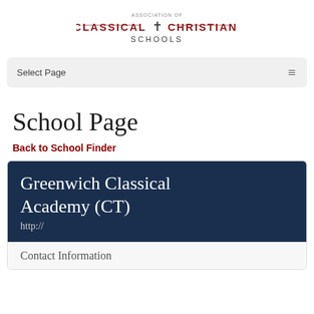[Figure (logo): Association of Classical Christian Schools logo with cross symbol]
Select Page
School Page
Back to School Finder
Greenwich Classical Academy (CT)
http://
Contact Information